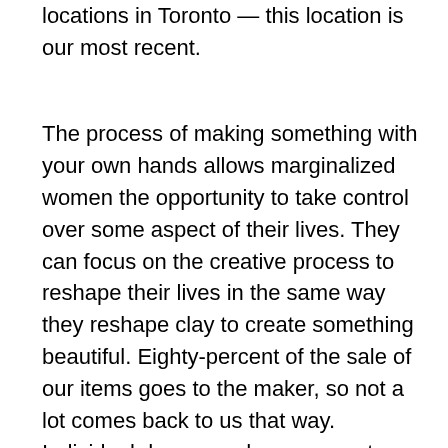locations in Toronto — this location is our most recent.
The process of making something with your own hands allows marginalized women the opportunity to take control over some aspect of their lives. They can focus on the creative process to reshape their lives in the same way they reshape clay to create something beautiful. Eighty-percent of the sale of our items goes to the maker, so not a lot comes back to us that way. Individual donors and government grants are the backbones of our operation, and we wouldn't be here without them. We're especially grateful to donors who give us unrestricted funding to do what we need to do. No strings attached.